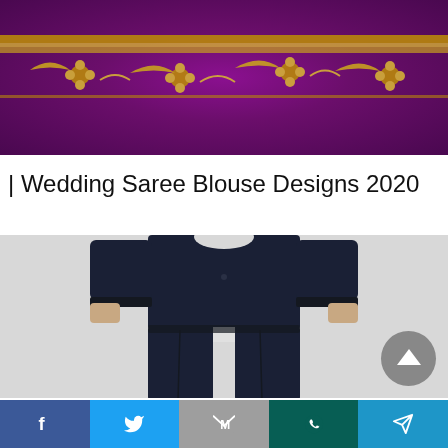[Figure (photo): Purple/magenta embroidered saree with gold embroidery border pattern, showing the upper portion of the fabric]
| Wedding Saree Blouse Designs 2020
[Figure (photo): Person wearing a dark navy/midnight blue loose blouse and wide-leg trousers outfit against a light background (Celio Blouse - Midnight / M | Normal Blouse)]
Celio Blouse - Midnight / M | Normal Blouse
Facebook | Twitter | Gmail | WhatsApp | Telegram share buttons